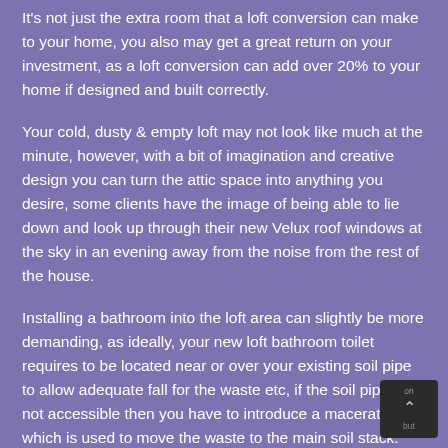It's not just the extra room that a loft conversion can make to your home, you also may get a great return on your investment, as a loft conversion can add over 20% to your home if designed and built correctly.
Your cold, dusty & empty loft may not look like much at the minute, however, with a bit of imagination and creative design you can turn the attic space into anything you desire, some clients have the image of being able to lie down and look up through their new Velux roof windows at the sky in an evening away from the noise from the rest of the house.
Installing a bathroom into the loft area can slightly be more demanding, as ideally, your new loft bathroom toilet requires to be located near or over your existing soil pipe to allow adequate fall for the waste etc, if the soil pipe is not accessible then you have to introduce a macerator which is used to move the waste to the main soil stack. (Plumbing waste is reliant on gravity and falls to move liquids from one point to another but there are situations when you can't rely on gravity alone and